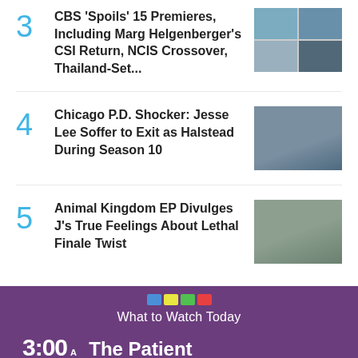3 CBS 'Spoils' 15 Premieres, Including Marg Helgenberger's CSI Return, NCIS Crossover, Thailand-Set...
[Figure (photo): Grid of 4 TV show promotional photos for CBS premieres]
4 Chicago P.D. Shocker: Jesse Lee Soffer to Exit as Halstead During Season 10
[Figure (photo): Actor photo from Chicago P.D., man in dark jacket in front of ambulance]
5 Animal Kingdom EP Divulges J's True Feelings About Lethal Finale Twist
[Figure (photo): Actor photo from Animal Kingdom, young man looking serious outdoors]
What to Watch Today
3:00 AM  The Patient
ADJUSTABLE DUMBBELLS SPY TESTED & REVIEWED